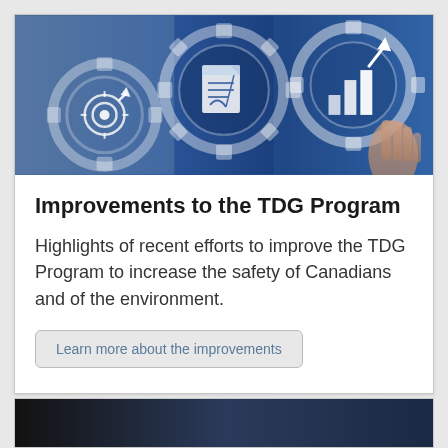[Figure (photo): Banner image showing gears with icons: a target/goal symbol, a document with checkmark, and a bar chart with upward arrow, on a blue tech-themed background]
Improvements to the TDG Program
Highlights of recent efforts to improve the TDG Program to increase the safety of Canadians and of the environment.
Learn more about the improvements
[Figure (photo): Bottom card partial image with dark blue background]